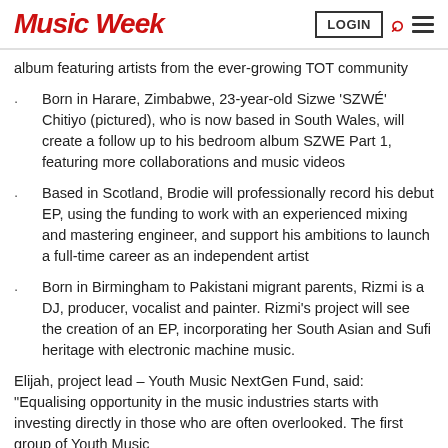Music Week | LOGIN
album featuring artists from the ever-growing TOT community
Born in Harare, Zimbabwe, 23-year-old Sizwe ‘SZWÉ’ Chitiyo (pictured), who is now based in South Wales, will create a follow up to his bedroom album SZWE Part 1, featuring more collaborations and music videos
Based in Scotland, Brodie will professionally record his debut EP, using the funding to work with an experienced mixing and mastering engineer, and support his ambitions to launch a full-time career as an independent artist
Born in Birmingham to Pakistani migrant parents, Rizmi is a DJ, producer, vocalist and painter. Rizmi’s project will see the creation of an EP, incorporating her South Asian and Sufi heritage with electronic machine music.
Elijah, project lead – Youth Music NextGen Fund, said: “Equalising opportunity in the music industries starts with investing directly in those who are often overlooked. The first group of Youth Music